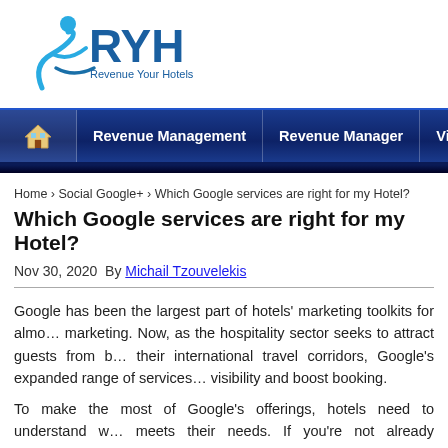[Figure (logo): RYH Revenue Your Hotels logo with stylized blue figure and swoosh]
Revenue Management | Revenue Manager | Videos | Events
Home › Social Google+ › Which Google services are right for my Hotel?
Which Google services are right for my Hotel?
Nov 30, 2020  By Michail Tzouvelekis
Google has been the largest part of hotels' marketing toolkits for almost a decade of marketing. Now, as the hospitality sector seeks to attract guests from beyond their international travel corridors, Google's expanded range of services can help hotels boost visibility and boost booking.
To make the most of Google's offerings, hotels need to understand which service best meets their needs. If you're not already incorporating the below tools into your strategies then it's time to take a fresh look at your approach.